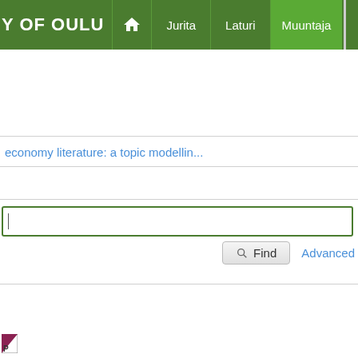[Figure (screenshot): University of Oulu navigation bar with green background, home icon, and menu items: Jurita, Laturi, Muuntaja]
economy literature: a topic modellin...
[Figure (screenshot): Search input field with green border]
Find   Advanced
[Figure (logo): Small logo mark at bottom left]